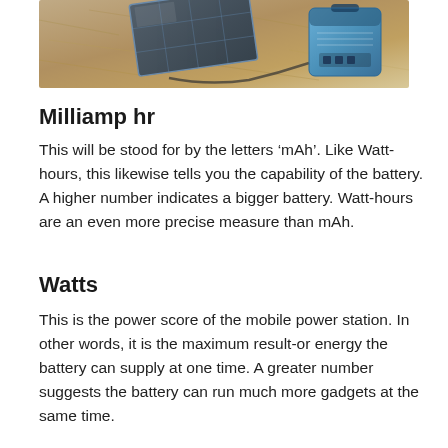[Figure (photo): Outdoor photo showing a solar panel and a portable power station/battery on straw/grass ground, partially cropped at top of page]
Milliamp hr
This will be stood for by the letters ‘mAh’. Like Watt-hours, this likewise tells you the capability of the battery. A higher number indicates a bigger battery. Watt-hours are an even more precise measure than mAh.
Watts
This is the power score of the mobile power station. In other words, it is the maximum result-or energy the battery can supply at one time. A greater number suggests the battery can run much more gadgets at the same time.